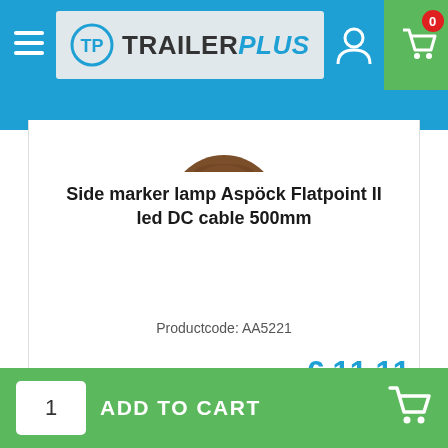TrailerPlus
[Figure (screenshot): Partial product image showing top of a round lamp/cable connector, brown color, cut off at top]
Side marker lamp Aspöck Flatpoint II led DC cable 500mm
Productcode: AA5221
€ 11,67 (old price, strikethrough)
€ 11,11
INCLUDE VAT
1  ADD TO CART